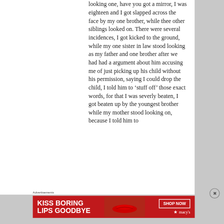looking one, have you got a mirror, I was eighteen and I got slapped across the face by my one brother, while thee other siblings looked on. There were several incidences, I got kicked to the ground, while my one sister in law stood looking as my father and one brother after we had had a argument about him accusing me of just picking up his child without his permission, saying I could drop the child, I told him to ‘stuff off’ those exact words, for that I was severly beaten, I got beaten up by the youngest brother while my mother stood looking on, because I told him to
Advertisements
[Figure (other): Macy's advertisement banner with red background, text reading 'KISS BORING LIPS GOODBYE', a woman's face with red lips, and a 'SHOP NOW' button with Macy's star logo]